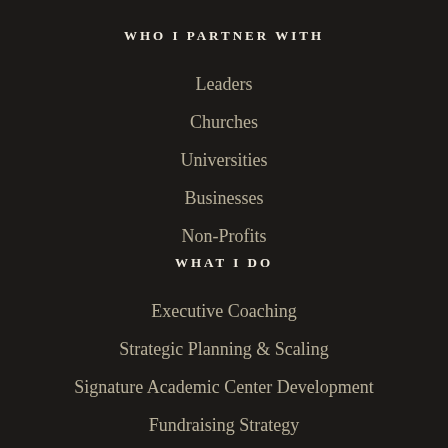WHO I PARTNER WITH
Leaders
Churches
Universities
Businesses
Non-Profits
WHAT I DO
Executive Coaching
Strategic Planning & Scaling
Signature Academic Center Development
Fundraising Strategy
Performance Team Recruitment